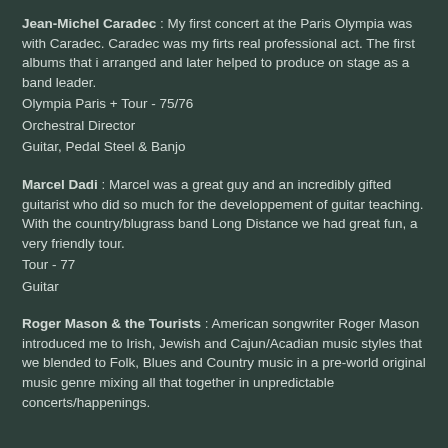Jean-Michel Caradec : My first concert at the Paris Olympia was with Caradec. Caradec was my firts real professional act. The first albums that i arranged and later helped to produce on stage as a band leader.
Olympia Paris + Tour - 75/76
Orchestral Director
Guitar, Pedal Steel & Banjo
Marcel Dadi : Marcel was a great guy and an incredibly gifted guitarist who did so much for the developpement of guitar teaching. With the country/blugrass band Long Distance we had great fun, a very friendly tour.
Tour - 77
Guitar
Roger Mason & the Tourists : American songwriter Roger Mason introduced me to Irish, Jewish and Cajun/Acadian music styles that we blended to Folk, Blues and Country music in a pre-world original music genre mixing all that together in unpredictable concerts/happenings.